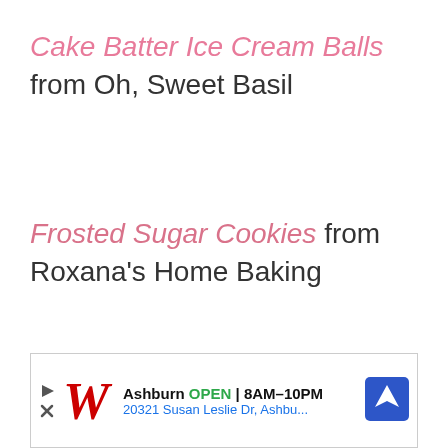Cake Batter Ice Cream Balls from Oh, Sweet Basil
Frosted Sugar Cookies from Roxana's Home Baking
[Figure (illustration): Accessibility icon: blue circle with white figure of a person with arms and legs spread, surrounded by a blue ring border]
[Figure (other): Advertisement banner: Walgreens ad showing 'Ashburn OPEN 8AM-10PM, 20321 Susan Leslie Dr, Ashbu...' with Walgreens logo and direction arrow icon]